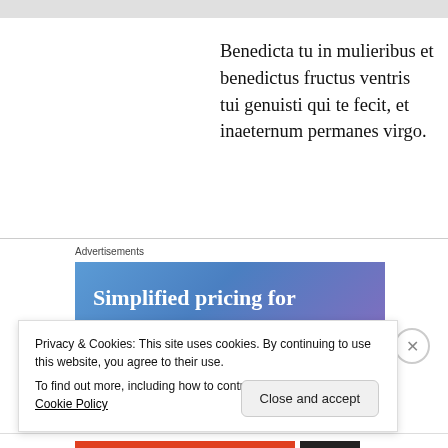Benedicta tu in mulieribus et benedictus fructus ventris tui genuisti qui te fecit, et inaeternum permanes virgo.
Advertisements
[Figure (screenshot): Advertisement banner with gradient blue-purple background showing text 'Simplified pricing for everything you need']
Privacy & Cookies: This site uses cookies. By continuing to use this website, you agree to their use.
To find out more, including how to control cookies, see here: Cookie Policy
Close and accept